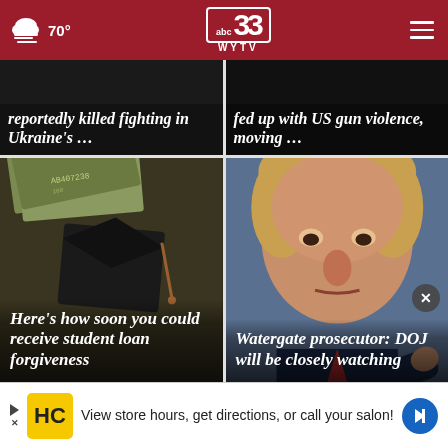ABC 33 WYTV — 70°
reportedly killed fighting in Ukraine's …
fed up with US gun violence, moving …
[Figure (photo): Graduation cap on top of money/cash — student loan forgiveness photo]
Here's how soon you could receive student loan forgiveness
[Figure (photo): Close-up photo of Donald Trump pointing]
Watergate prosecutor: DOJ will be closely watching
View store hours, get directions, or call your salon!